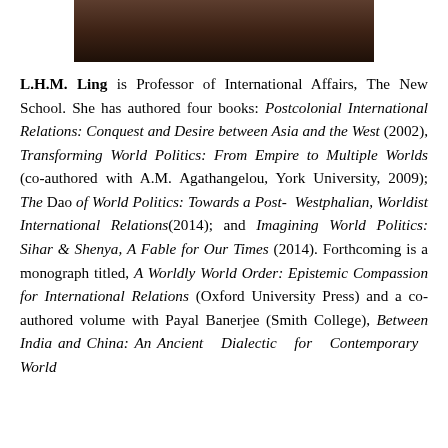[Figure (photo): Partial photograph of a person (head/shoulders), cropped at top of page]
L.H.M. Ling is Professor of International Affairs, The New School. She has authored four books: Postcolonial International Relations: Conquest and Desire between Asia and the West (2002), Transforming World Politics: From Empire to Multiple Worlds (co-authored with A.M. Agathangelou, York University, 2009); The Dao of World Politics: Towards a Post- Westphalian, Worldist International Relations(2014); and Imagining World Politics: Sihar & Shenya, A Fable for Our Times (2014). Forthcoming is a monograph titled, A Worldly World Order: Epistemic Compassion for International Relations (Oxford University Press) and a co-authored volume with Payal Banerjee (Smith College), Between India and China: An Ancient Dialectic for Contemporary World